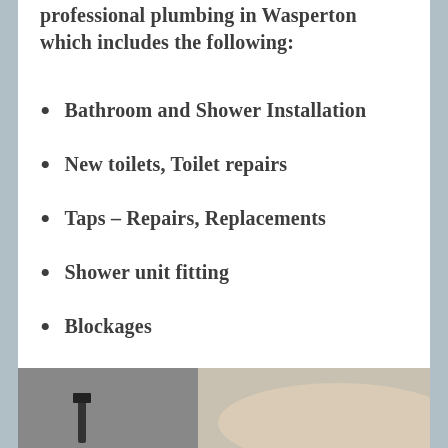professional plumbing in Wasperton which includes the following:
Bathroom and Shower Installation
New toilets, Toilet repairs
Taps – Repairs, Replacements
Shower unit fitting
Blockages
Saniflow system fitting
Dishwasher Installations
Shower and shower pump repairs
Repairs and replacement of ball valves
Washing machine installations
[Figure (photo): A person working with plumbing tools, partially visible hands and equipment]